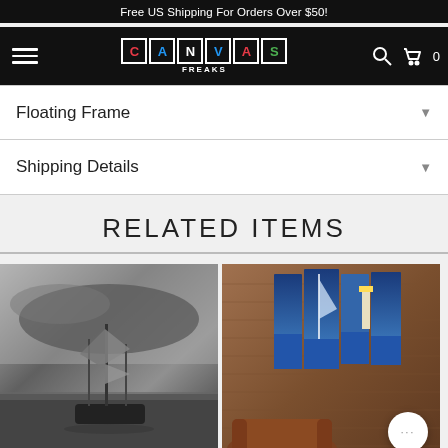Free US Shipping For Orders Over $50!
[Figure (logo): Canvas Freaks logo with colorful letter tiles on black navigation bar with hamburger menu, search icon, and cart icon showing 0]
Floating Frame
Shipping Details
RELATED ITEMS
[Figure (photo): Black and white photo of a tall sailing ship on stormy seas displayed as canvas print]
[Figure (photo): Color photo of a lighthouse and sailboat on blue water displayed as multi-panel canvas print on brick wall with leather chair]